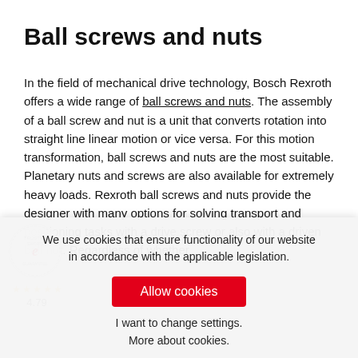Ball screws and nuts
In the field of mechanical drive technology, Bosch Rexroth offers a wide range of ball screws and nuts. The assembly of a ball screw and nut is a unit that converts rotation into straight line linear motion or vice versa. For this motion transformation, ball screws and nuts are the most suitable. Planetary nuts and screws are also available for extremely heavy loads. Rexroth ball screws and nuts provide the designer with many options for solving transport and positioning tasks with a drive screw or also with a driven ball nut. Regardless of whether
We use cookies that ensure functionality of our website in accordance with the applicable legislation.
Allow cookies
I want to change settings.
More about cookies.